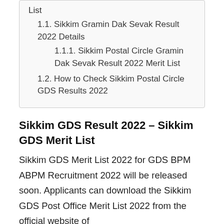List
1.1. Sikkim Gramin Dak Sevak Result 2022 Details
1.1.1. Sikkim Postal Circle Gramin Dak Sevak Result 2022 Merit List
1.2. How to Check Sikkim Postal Circle GDS Results 2022
Sikkim GDS Result 2022 – Sikkim GDS Merit List
Sikkim GDS Merit List 2022 for GDS BPM ABPM Recruitment 2022 will be released soon. Applicants can download the Sikkim GDS Post Office Merit List 2022 from the official website of